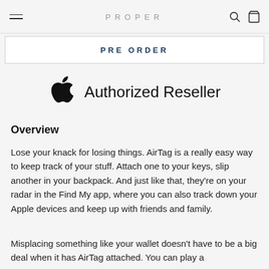PROPER
PRE ORDER
[Figure (logo): Apple logo with 'Authorized Reseller' text]
Overview
Lose your knack for losing things. AirTag is a really easy way to keep track of your stuff. Attach one to your keys, slip another in your backpack. And just like that, they're on your radar in the Find My app, where you can also track down your Apple devices and keep up with friends and family.
Misplacing something like your wallet doesn't have to be a big deal when it has AirTag attached. You can play a